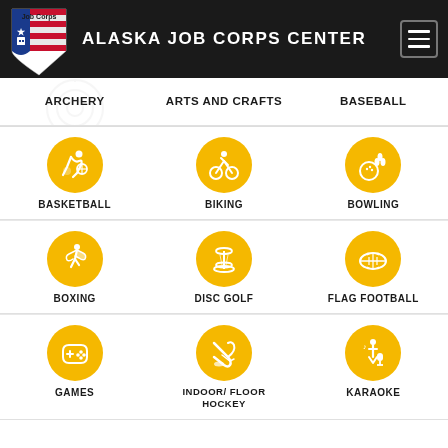ALASKA JOB CORPS CENTER
ARCHERY
ARTS AND CRAFTS
BASEBALL
BASKETBALL
BIKING
BOWLING
BOXING
DISC GOLF
FLAG FOOTBALL
GAMES
INDOOR/ FLOOR HOCKEY
KARAOKE